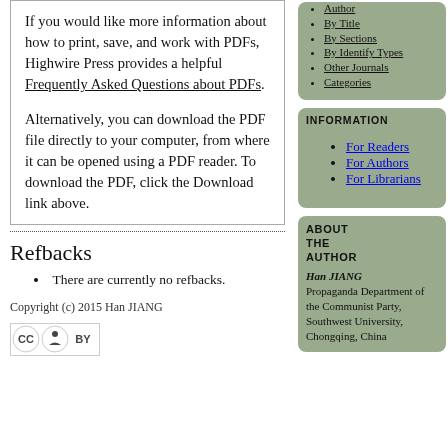If you would like more information about how to print, save, and work with PDFs, Highwire Press provides a helpful Frequently Asked Questions about PDFs.
Alternatively, you can download the PDF file directly to your computer, from where it can be opened using a PDF reader. To download the PDF, click the Download link above.
By Author
By Title
By Sections
By Identify Types
Other Journals
Categories
INFORMATION
For Readers
For Authors
For Librarians
ABOUT THE AUTHOR
Han JIANG Propaganda Department of the Communist Party, Southwest University, Chongqing, China
Refbacks
There are currently no refbacks.
Copyright (c) 2015 Han JIANG
[Figure (logo): Creative Commons BY license badge]